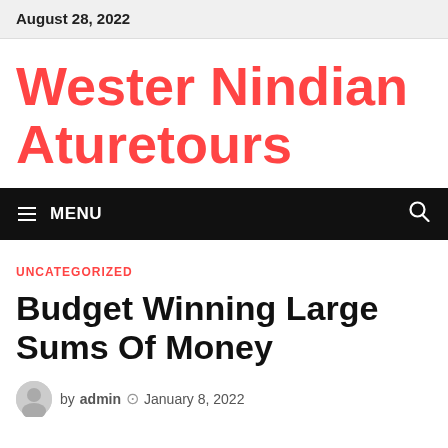August 28, 2022
Wester Nindian Aturetours
MENU
UNCATEGORIZED
Budget Winning Large Sums Of Money
by admin  January 8, 2022